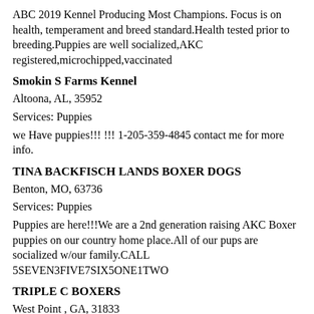ABC 2019 Kennel Producing Most Champions. Focus is on health, temperament and breed standard.Health tested prior to breeding.Puppies are well socialized,AKC registered,microchipped,vaccinated
Smokin S Farms Kennel
Altoona, AL, 35952
Services: Puppies
we Have puppies!!! !!! 1-205-359-4845 contact me for more info.
TINA BACKFISCH LANDS BOXER DOGS
Benton, MO, 63736
Services: Puppies
Puppies are here!!!We are a 2nd generation raising AKC Boxer puppies on our country home place.All of our pups are socialized w/our family.CALL 5SEVEN3FIVE7SIX5ONE1TWO
TRIPLE C BOXERS
West Point , GA, 31833